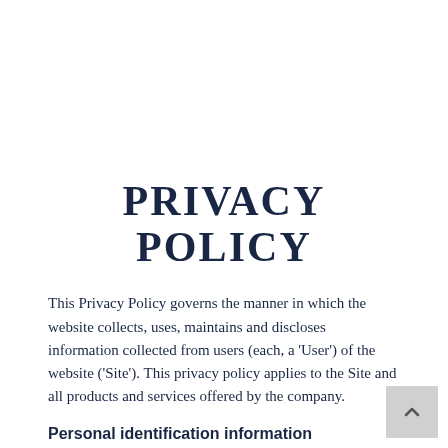PRIVACY POLICY
This Privacy Policy governs the manner in which the website collects, uses, maintains and discloses information collected from users (each, a 'User') of the website ('Site'). This privacy policy applies to the Site and all products and services offered by the company.
Personal identification information
We may collect personal identification